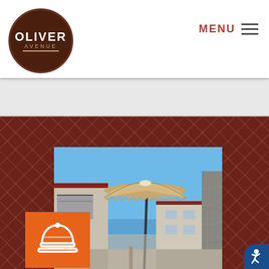[Figure (logo): Oliver Avenue logo — circular dark brown badge with white OLIVER text and tan AVENUE text with horizontal rule]
MENU ☰
[Figure (photo): Courtyard photo showing hotel/apartment buildings with a large tan patio umbrella against a blue sky, with a stone pillar visible on the right edge]
[Figure (illustration): Orange square icon box containing a white concierge bell / service bell icon]
[Figure (illustration): Accessibility button in the bottom-right corner with a blue circular background and white person-in-motion icon]